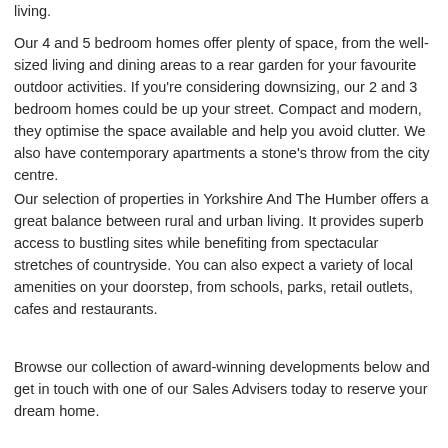living.
Our 4 and 5 bedroom homes offer plenty of space, from the well-sized living and dining areas to a rear garden for your favourite outdoor activities. If you're considering downsizing, our 2 and 3 bedroom homes could be up your street. Compact and modern, they optimise the space available and help you avoid clutter. We also have contemporary apartments a stone's throw from the city centre.
Our selection of properties in Yorkshire And The Humber offers a great balance between rural and urban living. It provides superb access to bustling sites while benefiting from spectacular stretches of countryside. You can also expect a variety of local amenities on your doorstep, from schools, parks, retail outlets, cafes and restaurants.
Browse our collection of award-winning developments below and get in touch with one of our Sales Advisers today to reserve your dream home.